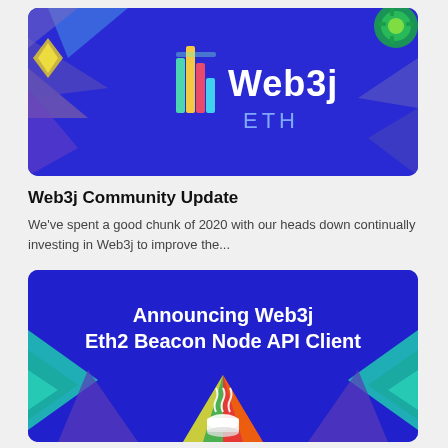[Figure (illustration): Web3j ETH banner with dark blue background, decorative colorful triangles/arrows, Web3j logo with colorful bars on left and 'Web3j ETH' text in white/light blue]
Web3j Community Update
We’ve spent a good chunk of 2020 with our heads down continually investing in Web3j to improve the...
[Figure (illustration): Announcing Web3j Eth2 Beacon Node API Client banner with dark blue background, teal chevron shapes on sides, colorful Java/Ethereum pyramid logo at bottom center]